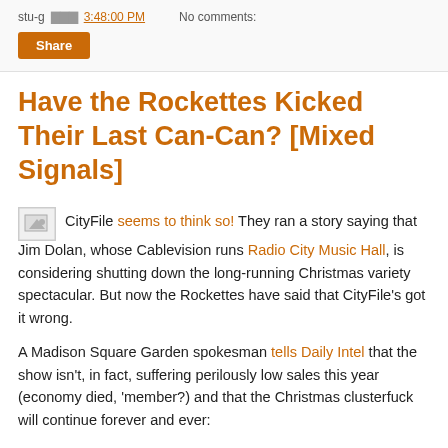stu-g  3:48:00 PM   No comments:
Share
Have the Rockettes Kicked Their Last Can-Can? [Mixed Signals]
CityFile seems to think so! They ran a story saying that Jim Dolan, whose Cablevision runs Radio City Music Hall, is considering shutting down the long-running Christmas variety spectacular. But now the Rockettes have said that CityFile's got it wrong.
A Madison Square Garden spokesman tells Daily Intel that the show isn't, in fact, suffering perilously low sales this year (economy died, 'member?) and that the Christmas clusterfuck will continue forever and ever: